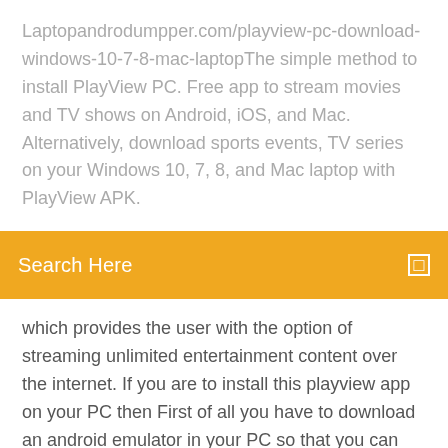Laptopandrodumpper.com/playview-pc-download-windows-10-7-8-mac-laptopThe simple method to install PlayView PC. Free app to stream movies and TV shows on Android, iOS, and Mac. Alternatively, download sports events, TV series on your Windows 10, 7, 8, and Mac laptop with PlayView APK.
Search Here
which provides the user with the option of streaming unlimited entertainment content over the internet. If you are to install this playview app on your PC then First of all you have to download an android emulator in your PC so that you can easily download android apps in your PC too. PlayView app is free to stream loads and watch lots of movies. Play view allows you to watch latest Movies, TV shows and serials on your android devices. PlayView Apk: Hey peeps, we are here again with an awesome article again, which will be a feast for movie lovers who are